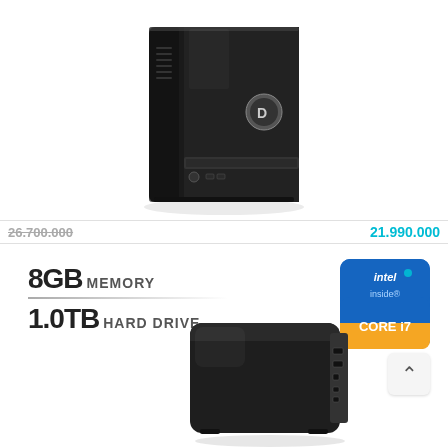[Figure (photo): Dell desktop tower computer in black, angled front view showing the Dell logo badge on the front panel with optical drive slot at bottom.]
26.700.000   21.990.000
[Figure (infographic): Product listing showing 8GB Memory, 1.0TB Hard Drive specs with Intel Core i7 badge and a small compact Dell desktop computer (black), plus a back/up navigation button.]